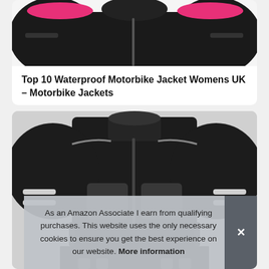[Figure (photo): Partial top view of a black and pink women's motorbike jacket on white background]
Top 10 Waterproof Motorbike Jacket Womens UK – Motorbike Jackets
[Figure (photo): Black motorbike/motorcycle jacket with reflective white stripes on the arms and chest protector panels, displayed on white background]
As an Amazon Associate I earn from qualifying purchases. This website uses the only necessary cookies to ensure you get the best experience on our website. More information